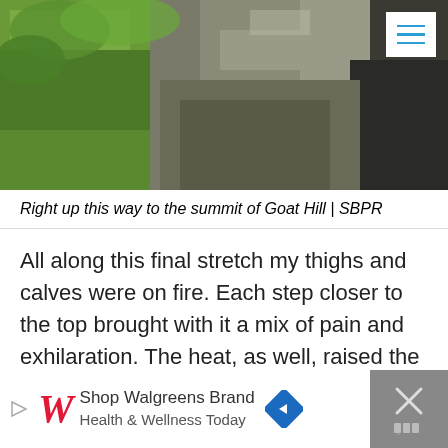[Figure (photo): Steep rocky hillside trail going up to the summit of Goat Hill, with green vegetation on the left and dark rocky terrain on the right. A hamburger menu icon is visible in the top-right corner.]
Right up this way to the summit of Goat Hill | SBPR
All along this final stretch my thighs and calves were on fire. Each step closer to the top brought with it a mix of pain and exhilaration. The heat, as well, raised the intensity. My clothes were soaked through with sweat; my heart pounding through my chest.
[Figure (other): Walgreens advertisement banner: 'Shop Walgreens Brand Health & Wellness Today']